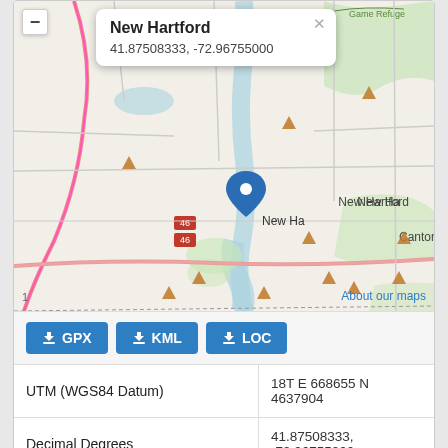[Figure (map): OpenStreetMap tile showing New Hartford, Connecticut area with a blue pin marker at coordinates 41.87508333, -72.96755000. Several orange triangle markers visible across the map. Roads including route 46 visible. Canton label visible to the right. A popup tooltip shows 'New Hartford' and coordinates '41.87508333, -72.96755000'. A minus zoom button in top-left. 'About our maps' link in bottom-right.]
GPX  KML  LOC
|  |  |
| --- | --- |
| UTM (WGS84 Datum) | 18T E 668655 N 4637904 |
| Decimal Degrees | 41.87508333, -72.96755000 |
| Degrees and Decimal Minutes | N 41° 52.505', W 72° 58.053' |
| Degrees, Minutes and Seconds | 41° 52' 30.3" N, 72° 58' 3.18" W |
| Driving Directions | Google Maps |